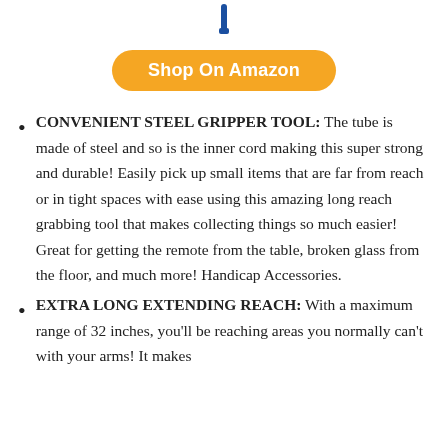[Figure (photo): Partial view of a blue steel gripper/reaching tool at the top of the page]
Shop On Amazon
CONVENIENT STEEL GRIPPER TOOL: The tube is made of steel and so is the inner cord making this super strong and durable! Easily pick up small items that are far from reach or in tight spaces with ease using this amazing long reach grabbing tool that makes collecting things so much easier! Great for getting the remote from the table, broken glass from the floor, and much more! Handicap Accessories.
EXTRA LONG EXTENDING REACH: With a maximum range of 32 inches, you'll be reaching areas you normally can't with your arms! It makes